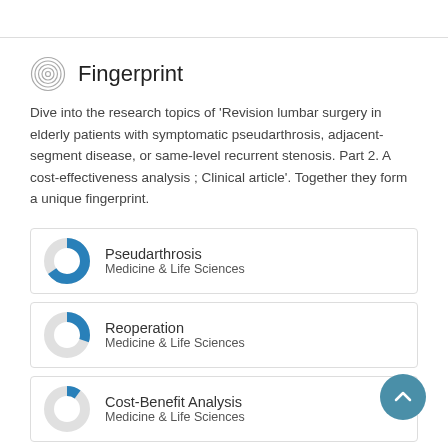Fingerprint
Dive into the research topics of 'Revision lumbar surgery in elderly patients with symptomatic pseudarthrosis, adjacent-segment disease, or same-level recurrent stenosis. Part 2. A cost-effectiveness analysis ; Clinical article'. Together they form a unique fingerprint.
Pseudarthrosis — Medicine & Life Sciences
Reoperation — Medicine & Life Sciences
Cost-Benefit Analysis — Medicine & Life Sciences